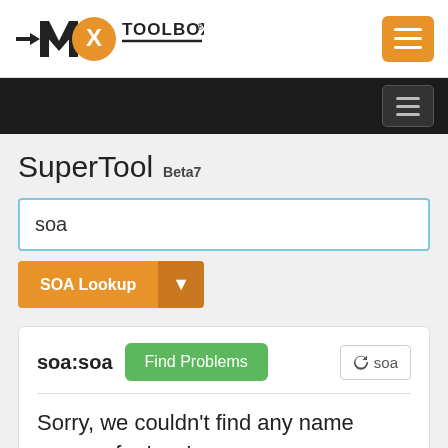[Figure (logo): MXToolbox logo with orange circle X and TOOLBOX® text]
[Figure (screenshot): Orange hamburger menu button in top right corner]
[Figure (screenshot): Dark navigation bar with dark hamburger menu button]
SuperTool Beta7
soa
SOA Lookup
soa:soa
Find Problems
soa
Sorry, we couldn't find any name servers for 'soa'